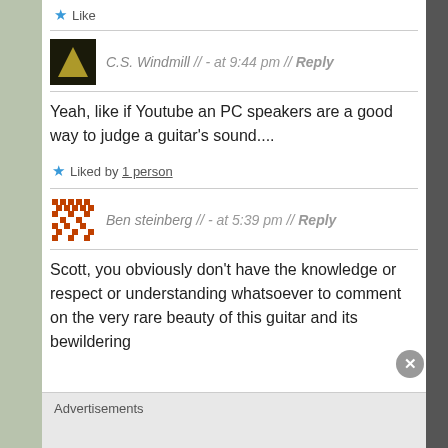★ Like
C.S. Windmill // - at 9:44 pm // Reply
Yeah, like if Youtube an PC speakers are a good way to judge a guitar's sound....
★ Liked by 1 person
Ben steinberg // - at 5:39 pm // Reply
Scott, you obviously don't have the knowledge or respect or understanding whatsoever to comment on the very rare beauty of this guitar and its bewildering
Advertisements